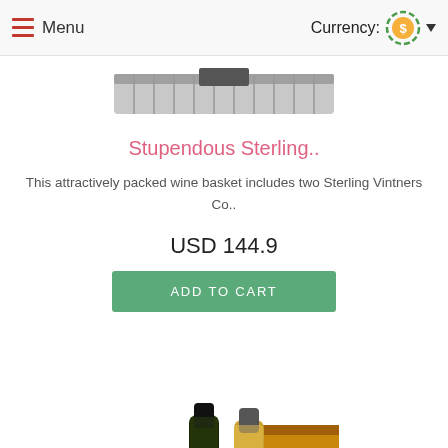Menu   Currency:
[Figure (photo): Partial product image at top - appears to be a wine basket lid or tray, cropped]
Stupendous Sterling..
This attractively packed wine basket includes two Sterling Vintners Co..
USD 144.9
ADD TO CART
[Figure (photo): Gift basket with two wine bottles (one dark, one light/golden), surrounded by chocolates, snacks, gourmet items, in a woven basket with red ribbon bow, accompanied by two wine glasses]